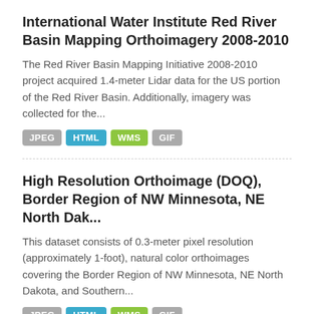International Water Institute Red River Basin Mapping Orthoimagery 2008-2010
The Red River Basin Mapping Initiative 2008-2010 project acquired 1.4-meter Lidar data for the US portion of the Red River Basin. Additionally, imagery was collected for the...
JPEG HTML WMS GIF
High Resolution Orthoimage (DOQ), Border Region of NW Minnesota, NE North Dak...
This dataset consists of 0.3-meter pixel resolution (approximately 1-foot), natural color orthoimages covering the Border Region of NW Minnesota, NE North Dakota, and Southern...
JPEG HTML WMS GIF
National Agricultural Imagery Program